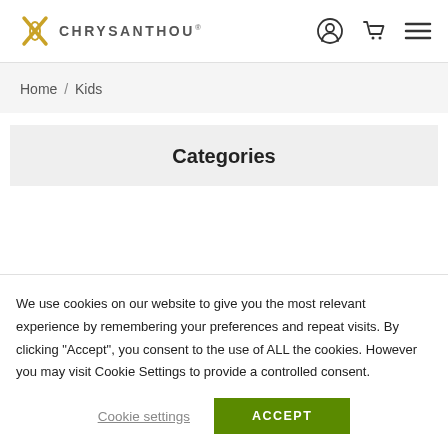CHRYSANTHOU
Home / Kids
Categories
We use cookies on our website to give you the most relevant experience by remembering your preferences and repeat visits. By clicking “Accept”, you consent to the use of ALL the cookies. However you may visit Cookie Settings to provide a controlled consent.
Cookie settings    ACCEPT